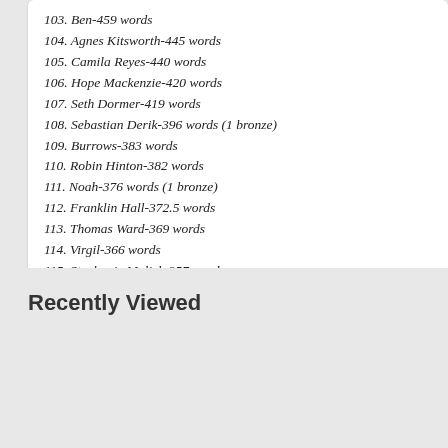103. Ben-459 words
104. Agnes Kitsworth-445 words
105. Camila Reyes-440 words
106. Hope Mackenzie-420 words
107. Seth Dormer-419 words
108. Sebastian Derik-396 words (1 bronze)
109. Burrows-383 words
110. Robin Hinton-382 words
111. Noah-376 words (1 bronze)
112. Franklin Hall-372.5 words
113. Thomas Ward-369 words
114. Virgil-366 words
115. Stephanie Malick-357 words
See MCU Television Screen Time Breakdown for a similar ranking of A by screen time instead of by words of dialogue.
Recently Viewed